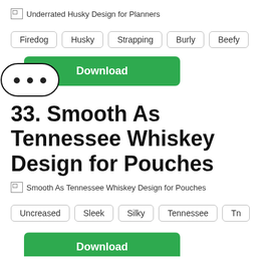[Figure (screenshot): Broken image placeholder for Underrated Husky Design for Planners]
Firedog
Husky
Strapping
Burly
Beefy
[Figure (screenshot): Download button (green) and ellipsis bubble overlay]
33. Smooth As Tennessee Whiskey Design for Pouches
[Figure (screenshot): Broken image placeholder for Smooth As Tennessee Whiskey Design for Pouches]
Uncreased
Sleek
Silky
Tennessee
Tn
[Figure (screenshot): Download button (green) partially visible at bottom]